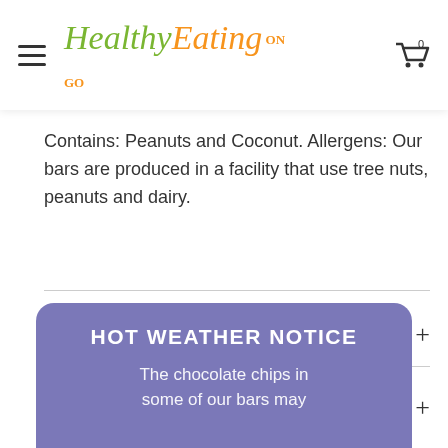HealthyEating ON THE GO — hamburger menu, cart icon (0)
Contains: Peanuts and Coconut. Allergens: Our bars are produced in a facility that use tree nuts, peanuts and dairy.
Storage Information
Shipping Details
HOT WEATHER NOTICE
The chocolate chips in some of our bars may